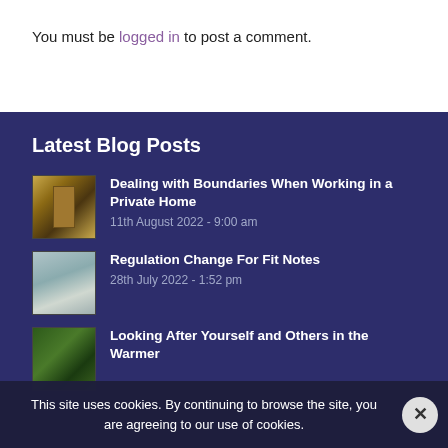You must be logged in to post a comment.
Latest Blog Posts
Dealing with Boundaries When Working in a Private Home
11th August 2022 - 9:00 am
Regulation Change For Fit Notes
28th July 2022 - 1:52 pm
Looking After Yourself and Others in the Warmer
This site uses cookies. By continuing to browse the site, you are agreeing to our use of cookies.